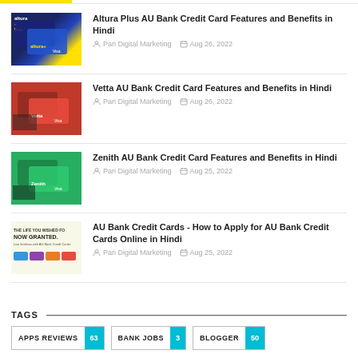[Figure (photo): Thumbnail for Altura Plus AU Bank Credit Card article showing blue credit cards]
Altura Plus AU Bank Credit Card Features and Benefits in Hindi
Pari Digital Marketing    Aug 26, 2022
[Figure (photo): Thumbnail for Vetta AU Bank Credit Card article showing red card with people shopping]
Vetta AU Bank Credit Card Features and Benefits in Hindi
Pari Digital Marketing    Aug 26, 2022
[Figure (photo): Thumbnail for Zenith AU Bank Credit Card article showing green card with man walking]
Zenith AU Bank Credit Card Features and Benefits in Hindi
Pari Digital Marketing    Aug 25, 2022
[Figure (photo): Thumbnail for AU Bank Credit Cards how to apply article showing multiple colorful cards with text NOW GRANTED]
AU Bank Credit Cards - How to Apply for AU Bank Credit Cards Online in Hindi
Pari Digital Marketing    Aug 25, 2022
TAGS
APPS REVIEWS (63)
BANK JOBS (3)
BLOGGER (50)